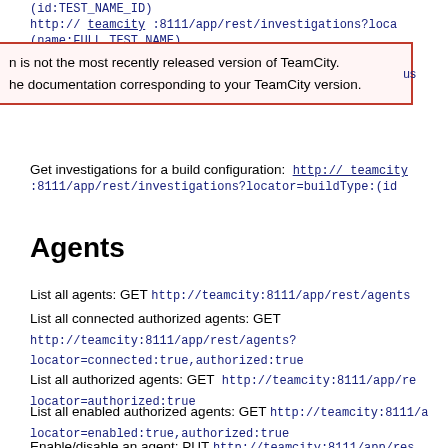(id:TEST_NAME_ID)
http:// teamcity :8111/app/rest/investigations?loca
(name:FULL_TEST_NAME)
n is not the most recently released version of TeamCity.
he documentation corresponding to your TeamCity version.
Get investigations for a build configuration: http:// teamcity :8111/app/rest/investigations?locator=buildType:(id
Agents
List all agents: GET http://teamcity:8111/app/rest/agents
List all connected authorized agents: GET http://teamcity:8111/app/rest/agents?locator=connected:true,authorized:true
List all authorized agents: GET http://teamcity:8111/app/rest/agents?locator=authorized:true
List all enabled authorized agents: GET http://teamcity:8111/app/rest/agents?locator=enabled:true,authorized:true
Enable/disable an agent: PUT http://teamcity:8111/app/res